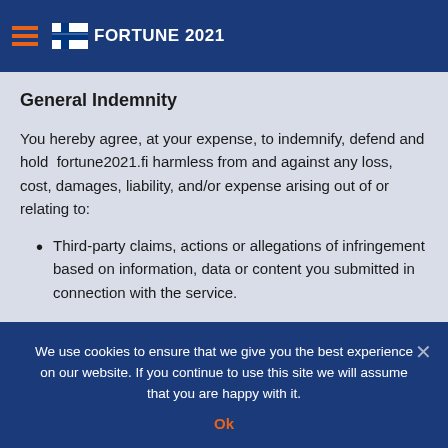FORTUNE 2021
your use of the information or the use of the information for any purpose other than the permitted purpose.
General Indemnity
You hereby agree, at your expense, to indemnify, defend and hold fortune2021.fi harmless from and against any loss, cost, damages, liability, and/or expense arising out of or relating to:
Third-party claims, actions or allegations of infringement based on information, data or content you submitted in connection with the service.
We use cookies to ensure that we give you the best experience on our website. If you continue to use this site we will assume that you are happy with it.
Ok